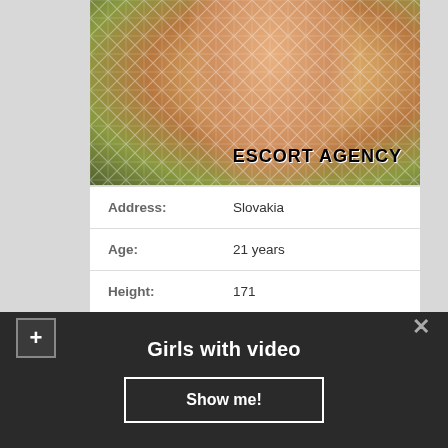[Figure (photo): Partial photo of a person wearing fishnet, with 'ESCORT AGENCY' text overlay in bold uppercase]
| Address: | Slovakia |
| Age: | 21 years |
| Height: | 171 |
| Body weight: | 47 |
| Available: | 10am - very late |
| Sizes: | 91-55-88 |
| Services: | Lesbi-show hard, Watersports (Giving), Bondage... |
Girls with video
Show me!